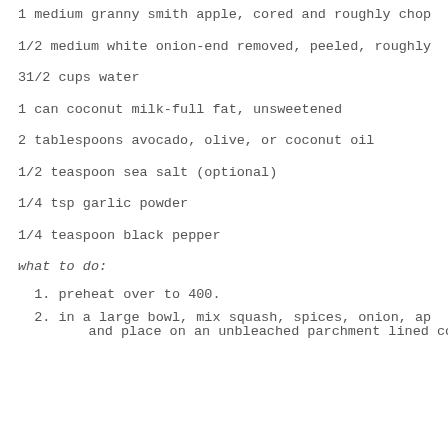1 medium granny smith apple, cored and roughly chop
1/2 medium white onion-end removed, peeled, roughly
31/2 cups water
1 can coconut milk-full fat, unsweetened
2 tablespoons avocado, olive, or coconut oil
1/2 teaspoon sea salt (optional)
1/4 tsp garlic powder
1/4 teaspoon black pepper
what to do:
1. preheat over to 400.
2. in a large bowl, mix squash, spices, onion, ap
   and place on an unbleached parchment lined coo